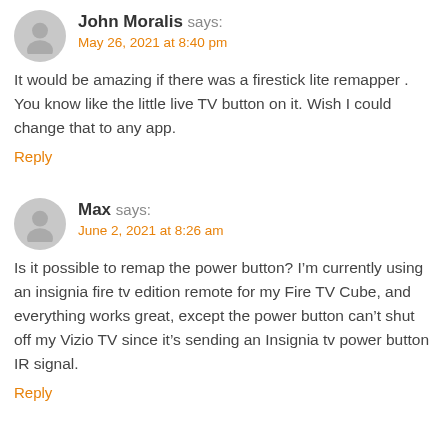John Moralis says:
May 26, 2021 at 8:40 pm
It would be amazing if there was a firestick lite remapper . You know like the little live TV button on it. Wish I could change that to any app.
Reply
Max says:
June 2, 2021 at 8:26 am
Is it possible to remap the power button? I’m currently using an insignia fire tv edition remote for my Fire TV Cube, and everything works great, except the power button can’t shut off my Vizio TV since it’s sending an Insignia tv power button IR signal.
Reply